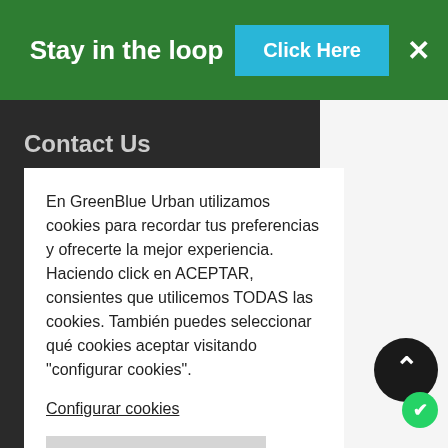Stay in the loop | Click Here | ×
Contact Us
En GreenBlue Urban utilizamos cookies para recordar tus preferencias y ofrecerte la mejor experiencia. Haciendo click en ACEPTAR, consientes que utilicemos TODAS las cookies. También puedes seleccionar qué cookies aceptar visitando "configurar cookies".
Configurar cookies
RECHAZAR TODAS
ACEPTAR TODAS
GreenBlue Urban Ltd